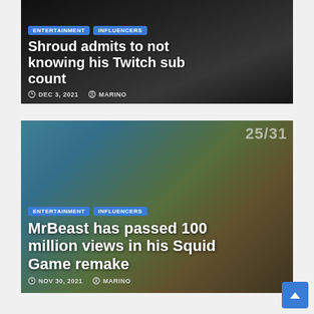[Figure (photo): Article card with dark background showing Shroud at a computer setup. Tags: ENTERTAINMENT, INFLUENCERS. Title: Shroud admits to not knowing his Twitch sub count. Date: DEC 3, 2021. Author: MARINO.]
[Figure (photo): Article card with outdoor crowd scene background (MrBeast Squid Game remake). Tags: ENTERTAINMENT, INFLUENCERS. Title: MrBeast has passed 100 million views in his Squid Game remake. Date: NOV 30, 2021. Author: MARINO.]